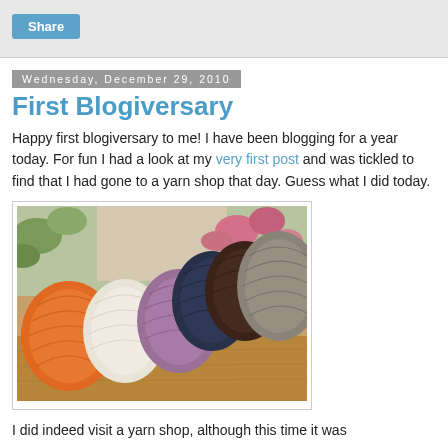Share
Wednesday, December 29, 2010
First Blogiversary
Happy first blogiversary to me! I have been blogging for a year today. For fun I had a look at my very first post and was tickled to find that I had gone to a yarn shop that day. Guess what I did today.
[Figure (photo): Several balls of yarn in various colors (orange, white, purple, dark navy, dark brown, grey/taupe) arranged on a wooden surface with plants in the background.]
I did indeed visit a yarn shop, although this time it was